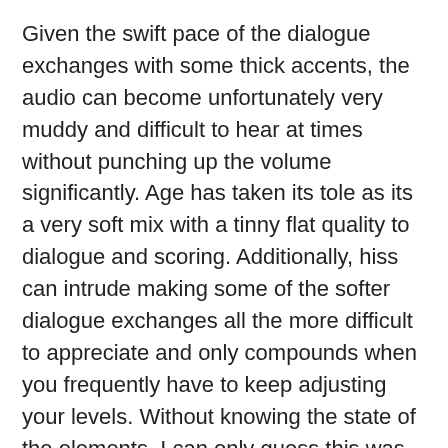Given the swift pace of the dialogue exchanges with some thick accents, the audio can become unfortunately very muddy and difficult to hear at times without punching up the volume significantly. Age has taken its tole as its a very soft mix with a tinny flat quality to dialogue and scoring. Additionally, hiss can intrude making some of the softer dialogue exchanges all the more difficult to appreciate and only compounds when you frequently have to keep adjusting your levels. Without knowing the state of the elements, I can only guess this was the mix Kino was handed and weren't given any chance to make adjustments. It's a shame really because this is such an impressive cast that it's distracting when you can't hear what they're saying.